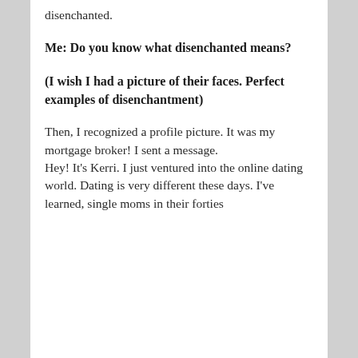disenchanted.
Me: Do you know what disenchanted means?
(I wish I had a picture of their faces. Perfect examples of disenchantment)
Then, I recognized a profile picture. It was my mortgage broker! I sent a message.
Hey! It’s Kerri. I just ventured into the online dating world. Dating is very different these days. I’ve learned, single moms in their forties